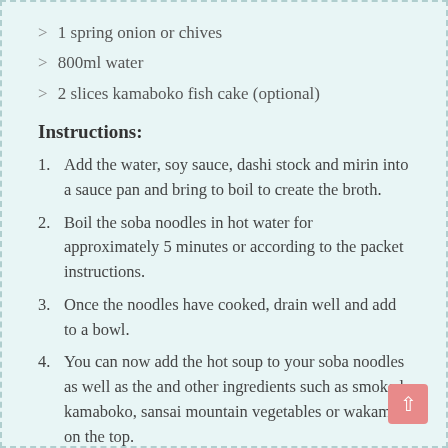> 1 spring onion or chives
> 800ml water
> 2 slices kamaboko fish cake (optional)
Instructions:
1. Add the water, soy sauce, dashi stock and mirin into a sauce pan and bring to boil to create the broth.
2. Boil the soba noodles in hot water for approximately 5 minutes or according to the packet instructions.
3. Once the noodles have cooked, drain well and add to a bowl.
4. You can now add the hot soup to your soba noodles as well as the and other ingredients such as smoked kamaboko, sansai mountain vegetables or wakame on the top.